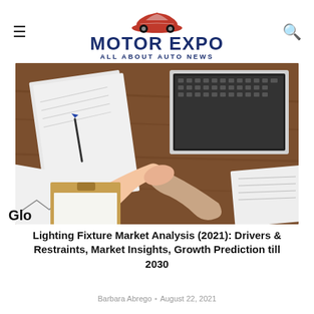Motor Expo – All About Auto News
[Figure (photo): Overhead view of people around a table with documents, charts, a laptop, shaking hands in a business meeting setting]
Lighting Fixture Market Analysis (2021): Drivers & Restraints, Market Insights, Growth Prediction till 2030
Barbara Abrego • August 22, 2021